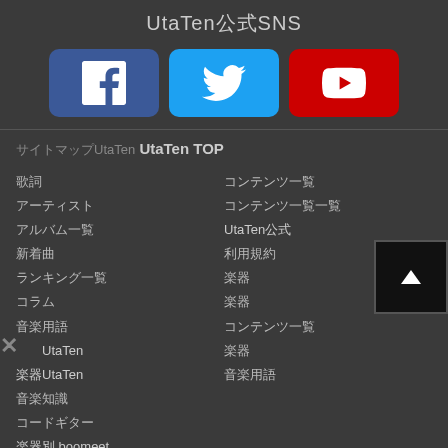UtaTen公式SNS
[Figure (infographic): Three social media buttons: Facebook (blue), Twitter (light blue), YouTube (red)]
サイトマップUtaTen UtaTen TOP
歌詞
アーティスト
アルバム一覧
新着曲
ランキング一覧
コラム
音楽用語
×公式UtaTen
楽器UtaTen
音楽知識
コードギター
楽器別 boomeet
UtaTen Twitter
プライバシー
お問い合わせ
コンテンツ一覧
コンテンツ一覧一覧
UtaTen公式
利用規約
楽器
楽器
コンテンツ一覧
楽器
音楽用語